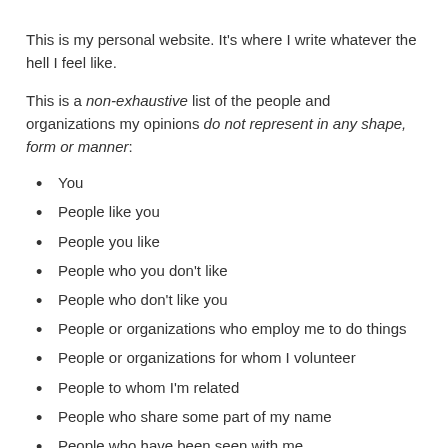This is my personal website. It's where I write whatever the hell I feel like.
This is a non-exhaustive list of the people and organizations my opinions do not represent in any shape, form or manner:
You
People like you
People you like
People who you don't like
People who don't like you
People or organizations who employ me to do things
People or organizations for whom I volunteer
People to whom I'm related
People who share some part of my name
People who have been seen with me
Organizations in which I have been a member
People who you will have as place of organization